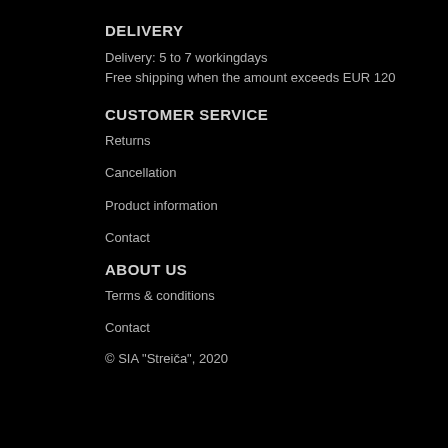DELIVERY
Delivery: 5 to 7 workingdays
Free shipping when the amount exceeds EUR 120
CUSTOMER SERVICE
Returns
Cancellation
Product information
Contact
ABOUT US
Terms & conditions
Contact
© SIA "Streiča", 2020